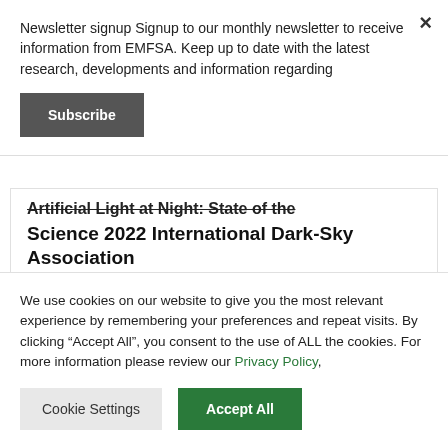Newsletter signup Signup to our monthly newsletter to receive information from EMFSA. Keep up to date with the latest research, developments and information regarding
Subscribe
Artificial Light at Night: State of the Science 2022 International Dark-Sky Association
EDITOR  NEWS  0
We use cookies on our website to give you the most relevant experience by remembering your preferences and repeat visits. By clicking “Accept All”, you consent to the use of ALL the cookies. For more information please review our Privacy Policy,
Cookie Settings
Accept All